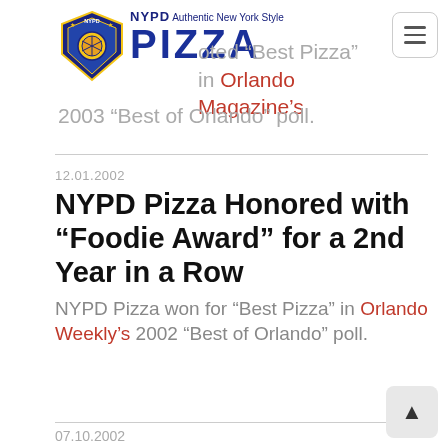[Figure (logo): NYPD Pizza logo with badge and 'Authentic New York Style PIZZA' text in blue]
voted “Best Pizza” in Orlando Magazine’s 2003 “Best of Orlando” poll.
12.01.2002
NYPD Pizza Honored with “Foodie Award” for a 2nd Year in a Row
NYPD Pizza won for “Best Pizza” in Orlando Weekly’s 2002 “Best of Orlando” poll.
07.10.2002